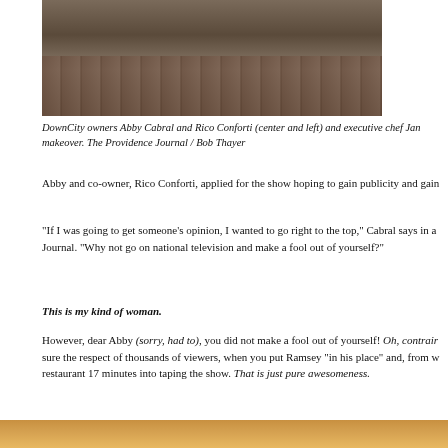[Figure (photo): Cropped photo showing the lower bodies and feet of people standing on a wooden floor. Legs in jeans and trousers visible with patterned shoes.]
DownCity owners Abby Cabral and Rico Conforti (center and left) and executive chef Jan makeover. The Providence Journal / Bob Thayer
Abby and co-owner, Rico Conforti, applied for the show hoping to gain publicity and gain
“If I was going to get someone’s opinion, I wanted to go right to the top,” Cabral says in a Journal. “Why not go on national television and make a fool out of yourself?”
This is my kind of woman.
However, dear Abby (sorry, had to), you did not make a fool out of yourself! Oh, contrair sure the respect of thousands of viewers, when you put Ramsey “in his place” and, from w restaurant 17 minutes into taping the show. That is just pure awesomeness.
[Figure (photo): Bottom portion of a photo showing a warm orange and yellow lit interior, likely the restaurant interior.]